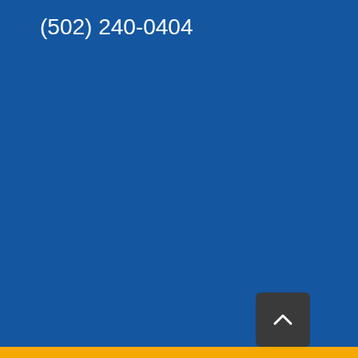(502) 240-0404
[Figure (other): Back to top button - dark grey rounded rectangle with white upward chevron arrow]
[Figure (other): Gold/orange horizontal bar at the bottom of the page]